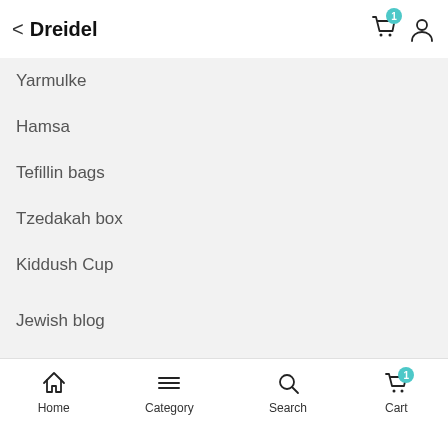Dreidel
Yarmulke
Hamsa
Tefillin bags
Tzedakah box
Kiddush Cup
Jewish blog
Hamsa
Tefillin bags
Jewish bags
Menorah
Yahrzeit Candle
Home  Category  Search  Cart